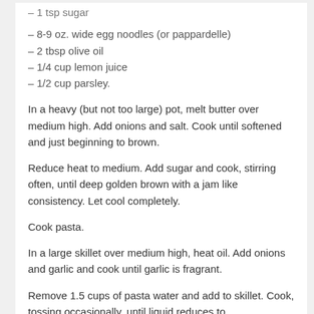– 1 tsp sugar
– 8-9 oz. wide egg noodles (or pappardelle)
– 2 tbsp olive oil
– 1/4 cup lemon juice
– 1/2 cup parsley.
In a heavy (but not too large) pot, melt butter over medium high. Add onions and salt. Cook until softened and just beginning to brown.
Reduce heat to medium. Add sugar and cook, stirring often, until deep golden brown with a jam like consistency. Let cool completely.
Cook pasta.
In a large skillet over medium high, heat oil. Add onions and garlic and cook until garlic is fragrant.
Remove 1.5 cups of pasta water and add to skillet. Cook, tossing occasionally, until liquid reduces to